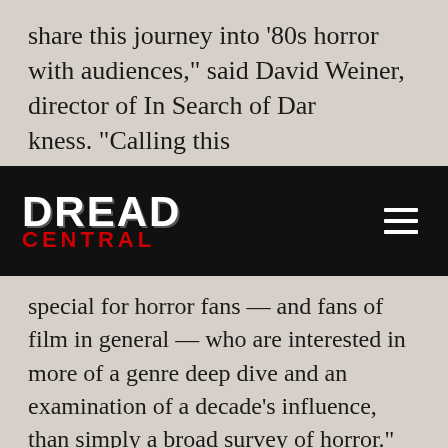share this journey into '80s horror with audiences," said David Weiner, director of In Search of Darkness. "Calling this
[Figure (logo): Dread Central website logo on black navigation bar with hamburger menu icon]
special for horror fans — and fans of film in general — who are interested in more of a genre deep dive and an examination of a decade's influence, than simply a broad survey of horror."
That trailer (follow Related Article line below) coincided with a final Indiegogo campaign for In Search of Darkness (currently in post-production) that will offer backers some incredible